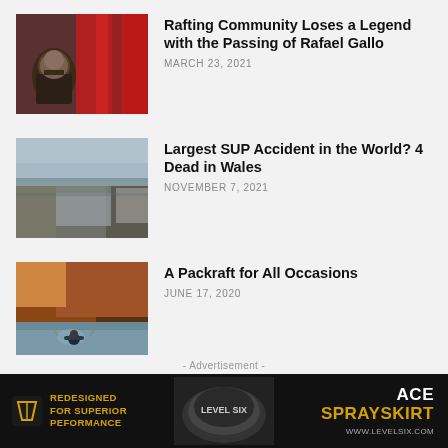Rafting Community Loses a Legend with the Passing of Rafael Gallo
MARCH 23, 2021
[Figure (photo): Person standing in front of red kayaks/canoes in a storage area]
Largest SUP Accident in the World? 4 Dead in Wales
NOVEMBER 7, 2021
[Figure (photo): Canal or waterway with stone buildings reflected in calm water under cloudy sky]
A Packraft for All Occasions
JUNE 17, 2020
[Figure (photo): Person in a packraft paddling through red rock canyon waterway]
- Advertisement -
[Figure (photo): Level Six ACE Sprayskirt advertisement banner. Text: REDESIGNED FOR SUPERIOR PEFORMANCE. ACE SPRAYSKIRT. WWW.LEVELSIX.COM]